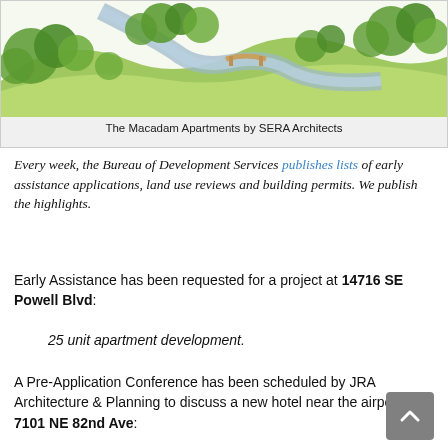[Figure (illustration): Aerial illustration/rendering of The Macadam Apartments showing green landscape with trees and a winding river or path, by SERA Architects]
The Macadam Apartments by SERA Architects
Every week, the Bureau of Development Services publishes lists of early assistance applications, land use reviews and building permits. We publish the highlights.
Early Assistance has been requested for a project at 14716 SE Powell Blvd:
25 unit apartment development.
A Pre-Application Conference has been scheduled by JRA Architecture & Planning to discuss a new hotel near the airport at 7101 NE 82nd Ave: